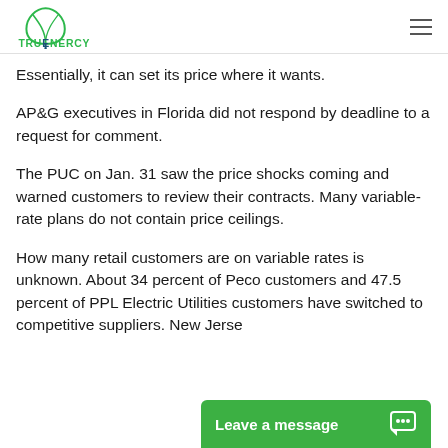[Figure (logo): TruEnergy logo — green leaf/lightbulb icon above green text 'TRUENERGY']
Essentially, it can set its price where it wants.
AP&G executives in Florida did not respond by deadline to a request for comment.
The PUC on Jan. 31 saw the price shocks coming and warned customers to review their contracts. Many variable-rate plans do not contain price ceilings.
How many retail customers are on variable rates is unknown. About 34 percent of Peco customers and 47.5 percent of PPL Electric Utilities customers have switched to competitive suppliers. New Jerse...